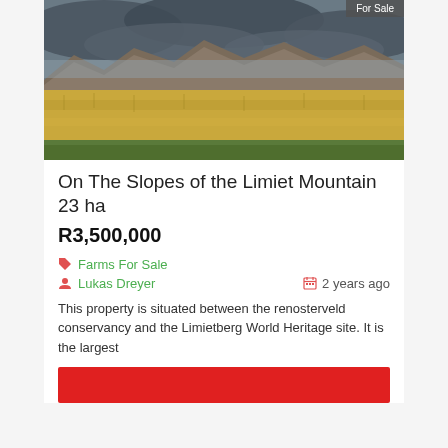[Figure (photo): Landscape photo showing golden grassland with dramatic mountain range in the background under a stormy cloudy sky. A 'For Sale' badge appears in the top-right corner.]
On The Slopes of the Limiet Mountain 23 ha
R3,500,000
Farms For Sale
Lukas Dreyer   2 years ago
This property is situated between the renosterveld conservancy and the Limietberg World Heritage site. It is the largest